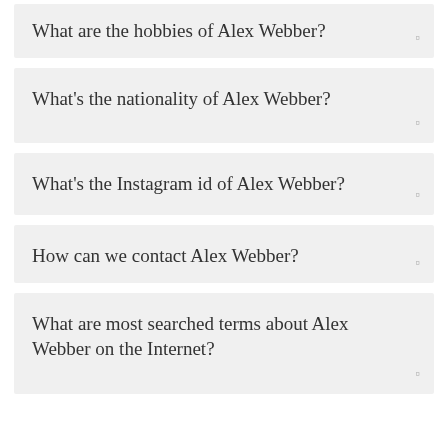What are the hobbies of Alex Webber?
What's the nationality of Alex Webber?
What's the Instagram id of Alex Webber?
How can we contact Alex Webber?
What are most searched terms about Alex Webber on the Internet?